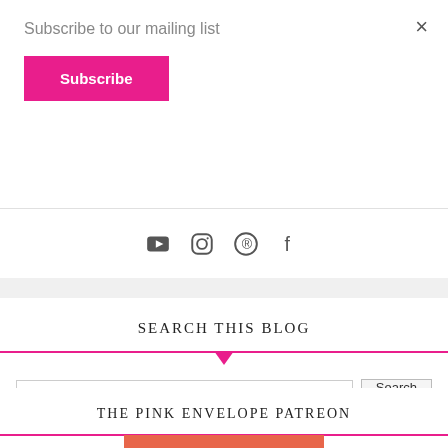Subscribe to our mailing list
×
Subscribe
[Figure (infographic): Social media icons: YouTube, Instagram, Pinterest, Facebook]
SEARCH THIS BLOG
[Figure (infographic): Search input field with Search button]
THE PINK ENVELOPE PATREON
[Figure (infographic): Salmon/orange colored rectangle at bottom]